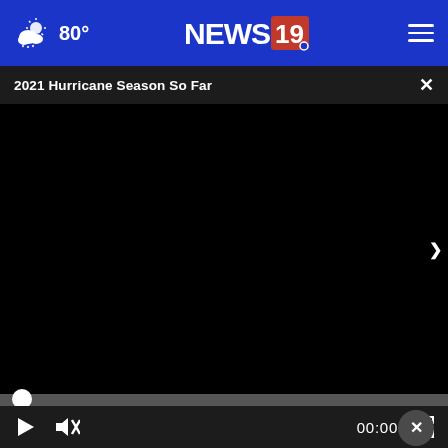80° NEWS 19
2021 Hurricane Season So Far
[Figure (screenshot): Black video player area showing a paused video with progress bar at 00:00, play button, mute button, and fullscreen button. News19 website screenshot with navigation header showing weather (80°) and hamburger menu.]
for This
Keilini.com
[Figure (photo): Advertisement banner: Two people standing outdoors. Text reads: If you're noticing changes, it could be Alzheimer's. Visit a doctor together.]